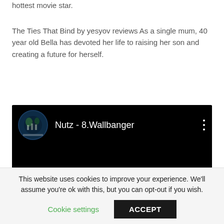hottest movie star.
The Ties That Bind by yesyov reviews As a single mum, 40 year old Bella has devoted her life to raising her son and creating a future for herself.
[Figure (screenshot): Embedded video player with black background showing title 'Nutz - 8.Wallbanger' with a circular album art thumbnail on the left and a three-dot menu icon on the right.]
This website uses cookies to improve your experience. We'll assume you're ok with this, but you can opt-out if you wish.
Cookie settings   ACCEPT